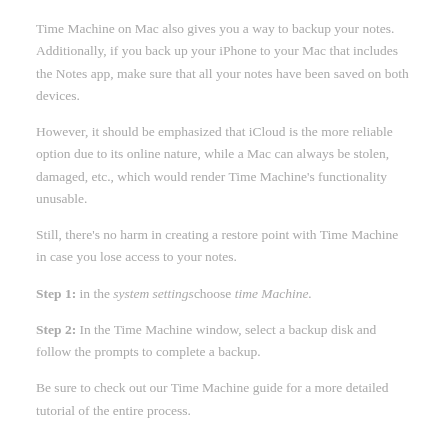Time Machine on Mac also gives you a way to backup your notes. Additionally, if you back up your iPhone to your Mac that includes the Notes app, make sure that all your notes have been saved on both devices.
However, it should be emphasized that iCloud is the more reliable option due to its online nature, while a Mac can always be stolen, damaged, etc., which would render Time Machine's functionality unusable.
Still, there's no harm in creating a restore point with Time Machine in case you lose access to your notes.
Step 1: in the system settings choose time Machine.
Step 2: In the Time Machine window, select a backup disk and follow the prompts to complete a backup.
Be sure to check out our Time Machine guide for a more detailed tutorial of the entire process.